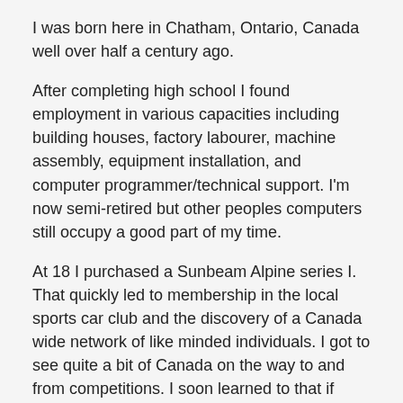I was born here in Chatham, Ontario, Canada well over half a century ago.
After completing high school I found employment in various capacities including building houses, factory labourer, machine assembly, equipment installation, and computer programmer/technical support. I'm now semi-retired but other peoples computers still occupy a good part of my time.
At 18 I purchased a Sunbeam Alpine series I. That quickly led to membership in the local sports car club and the discovery of a Canada wide network of like minded individuals. I got to see quite a bit of Canada on the way to and from competitions. I soon learned to that if you're going to have fun participating in something then you have to help to make it work. I got involved in administration at local, provincial, and national levels.
Then I met a woman (Gabrielle) from the next village and got married, bought a house, and started focusing a little closer to home. Up till this time my interest in food consisted mostly of eating it but I started doing the grocery shopping and then dabbled in the kitchen from